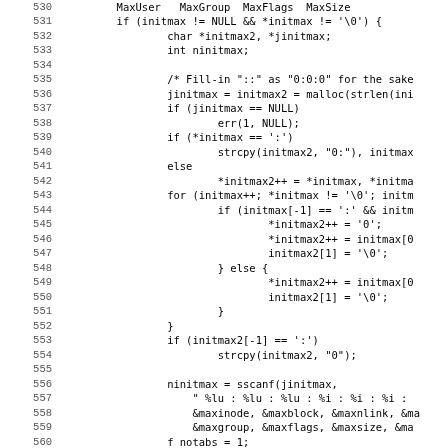[Figure (other): Source code listing in C, lines 530-562, showing initmax parsing logic with malloc, strcpy, sscanf, and switch statements.]